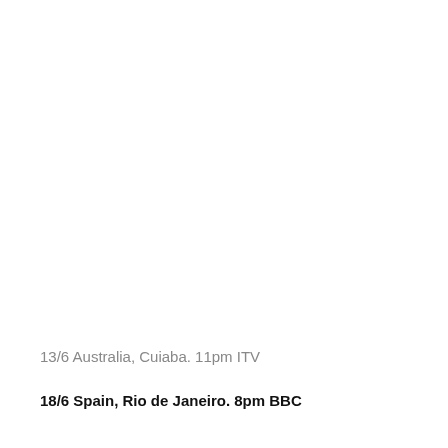13/6 Australia, Cuiaba. 11pm ITV
18/6 Spain, Rio de Janeiro. 8pm BBC